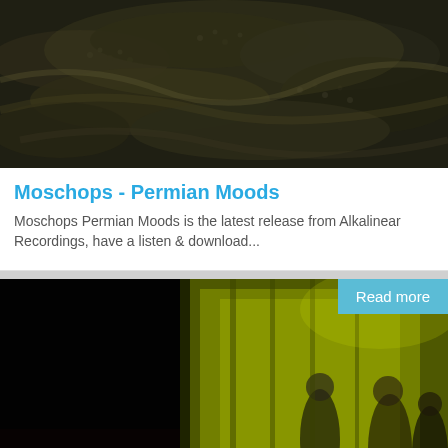[Figure (photo): Close-up photo of fish or reptiles, dark brownish-green tones, scaly textures]
Moschops - Permian Moods
Moschops Permian Moods is the latest release from Alkalinear Recordings, have a listen & download...
[Figure (photo): Dark nighttime photo of people in a venue or corridor with green/yellow lighting, with a 'Read more' badge overlay]